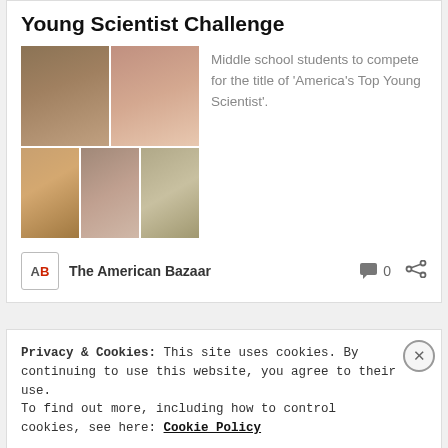Young Scientist Challenge
[Figure (photo): Grid of five middle school student photos — two on top row, three on bottom row]
Middle school students to compete for the title of 'America's Top Young Scientist'.
The American Bazaar
Privacy & Cookies: This site uses cookies. By continuing to use this website, you agree to their use.
To find out more, including how to control cookies, see here: Cookie Policy
Close and accept